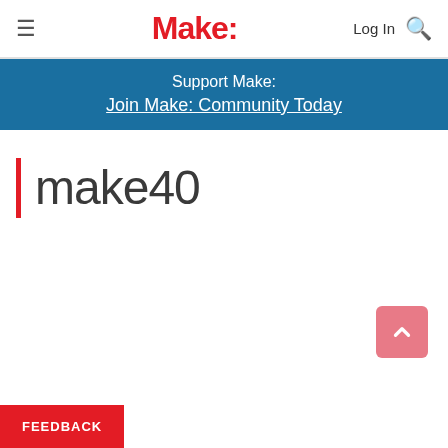≡  Make:  Log In 🔍
Support Make: Join Make: Community Today
make40
FEEDBACK